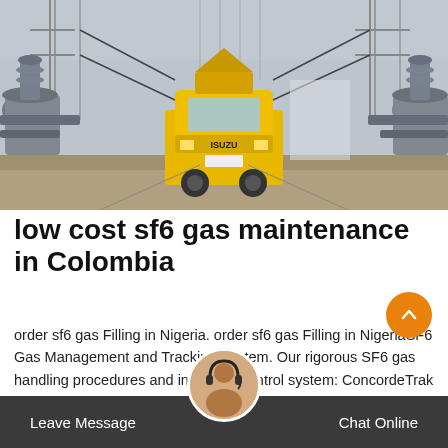[Figure (photo): Yellow Isuzu utility truck parked inside a high-voltage electrical substation, surrounded by large grey electrical equipment and transmission towers in background.]
low cost sf6 gas maintenance in Colombia
order sf6 gas Filling in Nigeria. order sf6 gas Filling in NigeriaSF6 Gas Management and Tracking System. Our rigorous SF6 gas handling procedures and inventory control system: ConcordeTrak is the engine behind our quality and control department.It begins as a tracking system behind the scenes,
Leave Message  Chat Online